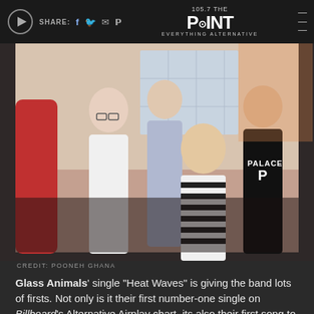105.7 THE POINT — EVERYTHING ALTERNATIVE
[Figure (photo): Band photo of Glass Animals — four young men posing together, one in a black and white striped shirt, one in a black Palace jersey]
CREDIT: POONEH GHANA
Glass Animals' single "Heat Waves" is giving the band lots of firsts. Not only is it their first number-one single on Billboard's Alternative Airplay chart, its also their first song to enter the all-genre Hot 100 ranking.
Speaking with ABC Audio, frontman Dave Bayley shares that the success of "Heat Waves" means a "huge amount" to him and his band mates, especially